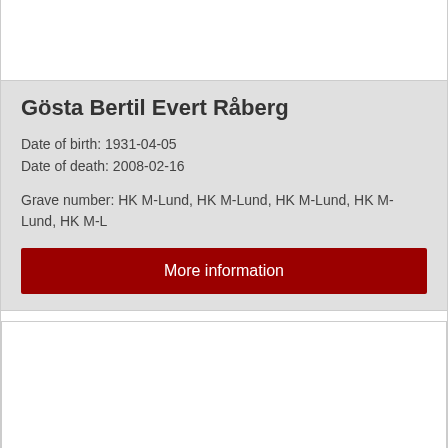Gösta Bertil Evert Råberg
Date of birth: 1931-04-05
Date of death: 2008-02-16
Grave number: HK M-Lund, HK M-Lund, HK M-Lund, HK M-Lund, HK M-L
More information
Ingen bild